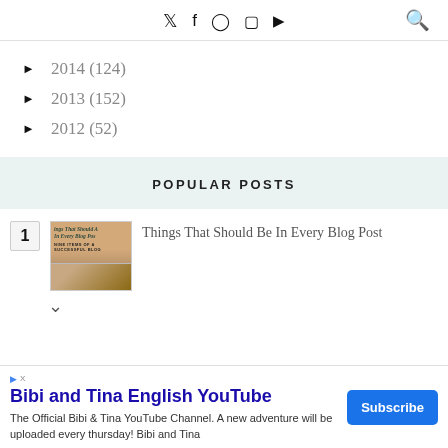Social media icons: Twitter, Facebook, Pinterest, Instagram, YouTube; Search icon
► 2014 (124)
► 2013 (152)
► 2012 (52)
POPULAR POSTS
[Figure (photo): Thumbnail image for blog post 'Things That Should Be In Every Blog Post']
Things That Should Be In Every Blog Post
Bibi and Tina English YouTube
The Official Bibi & Tina YouTube Channel. A new adventure will be uploaded every thursday! Bibi and Tina